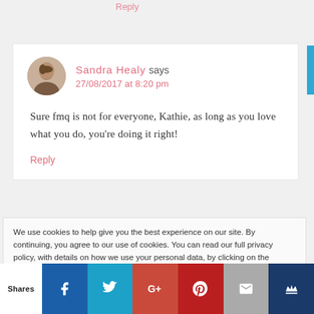Reply
Sandra Healy says
27/08/2017 at 8:20 pm
Sure fmq is not for everyone, Kathie, as long as you love what you do, you’re doing it right!
Reply
We use cookies to help give you the best experience on our site. By continuing, you agree to our use of cookies. You can read our full privacy policy, with details on how we use your personal data, by clicking on the following link. Privacy and Cookie Policy